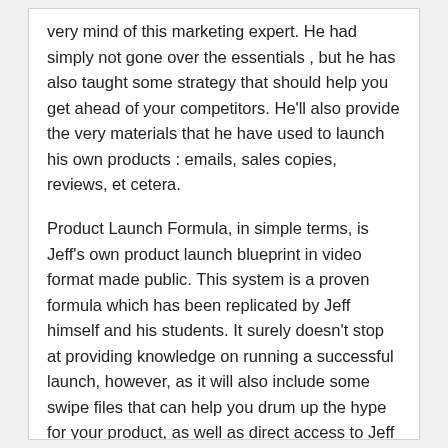very mind of this marketing expert. He had simply not gone over the essentials , but he has also taught some strategy that should help you get ahead of your competitors. He'll also provide the very materials that he have used to launch his own products : emails, sales copies, reviews, et cetera.
Product Launch Formula, in simple terms, is Jeff's own product launch blueprint in video format made public. This system is a proven formula which has been replicated by Jeff himself and his students. It surely doesn't stop at providing knowledge on running a successful launch, however, as it will also include some swipe files that can help you drum up the hype for your product, as well as direct access to Jeff himself through Q-and- sessions to hotseat calls. Jeff definitely is looking to deliver and more with this new information product.